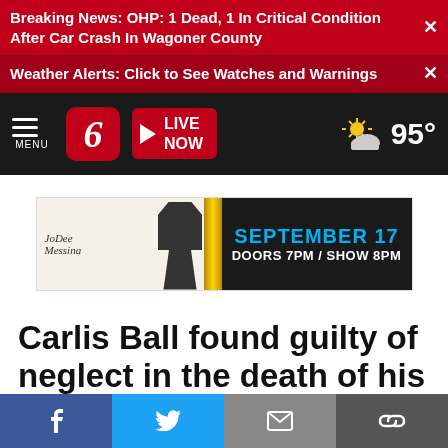Breaking News: OHP: 1 Dead, 1 In Critical Condition After Car Crash In Wagoner County
Weather Alerts: Click to See Watches and Warnings
MENU | 6 | LIVE NOW | 95°
[Figure (screenshot): JoDee Messina advertisement banner: September 17, Doors 7PM / Show 8PM]
Carlis Ball found guilty of neglect in the death of his 2 year old son
f  Twitter  Email  Link icons (social sharing bar)